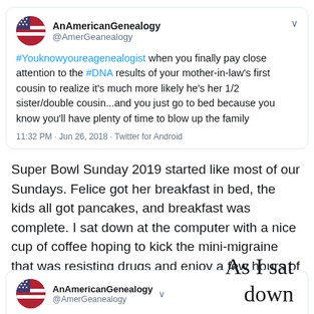[Figure (screenshot): Tweet from @AmerGeanealogy (AnAmericanGenealogy) posted at 11:32 PM Jun 26, 2018 via Twitter for Android. Text: #YouknowyoureagenealogistAttachment when you finally pay close attention to the #DNA results of your mother-in-law's first cousin to realize it's much more likely he's her 1/2 sister/double cousin...and you just go to bed because you know you'll have plenty of time to blow up the family]
Super Bowl Sunday 2019 started like most of our Sundays. Felice got her breakfast in bed, the kids all got pancakes, and breakfast was complete. I sat down at the computer with a nice cup of coffee hoping to kick the mini-migraine that was resisting drugs and enjoy a few hours of genealogy.
[Figure (screenshot): Partial tweet from @AmerGeanealogy (AnAmericanGenealogy) at bottom of page, with partial text 'As I sat down' visible on the right side]